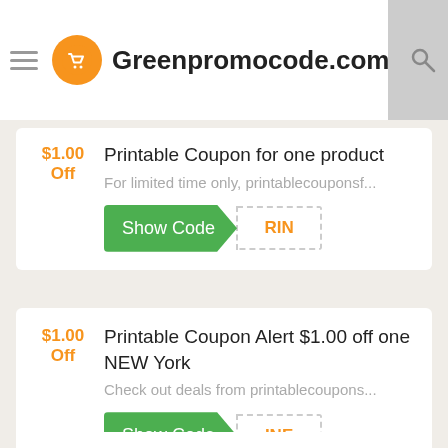Greenpromocode.com
$1.00 Off
Printable Coupon for one product
For limited time only, printablecouponsf...
Show Code RIN
$1.00 Off
Printable Coupon Alert $1.00 off one NEW York
Check out deals from printablecoupons...
Show Code INE
Save with Printable Coupon: $1.00